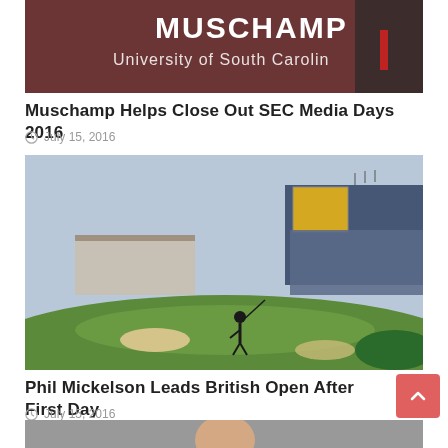[Figure (photo): Photo of Muschamp at University of South Carolina media days event, with a sign reading 'MUSCHAMP University of South Carolina' visible in the background]
Muschamp Helps Close Out SEC Media Days 2016
July 15, 2016
[Figure (photo): Photo of Phil Mickelson hitting a golf shot at the British Open, with large grandstands filled with spectators in the background and a green golf course foreground]
Phil Mickelson Leads British Open After First Day
July 15, 2016
[Figure (photo): Partial photo of a person, cropped at the bottom of the page]